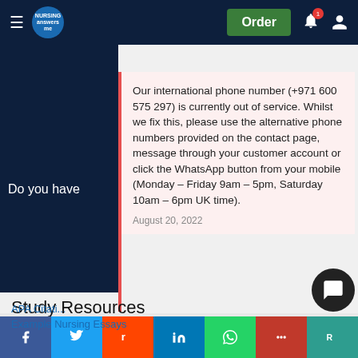Nursing Answers - Order [nav bar with hamburger, logo, order button, bell, user icons]
Do you have
Our international phone number (+971 600 575 297) is currently out of service. Whilst we fix this, please use the alternative phone numbers provided on the contact page, message through your customer account or click the WhatsApp button from your mobile (Monday – Friday 9am – 5pm, Saturday 10am – 6pm UK time).
August 20, 2022
Study Resources
Free resources to assist you with your nursing studie
APA Citati...
Example Nursing Essays